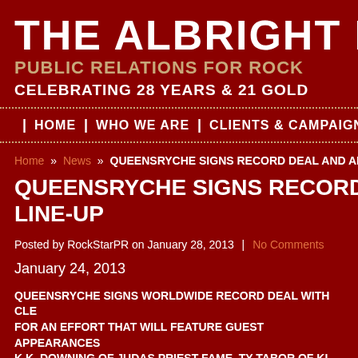THE ALBRIGHT EN
PUBLIC RELATIONS FOR ROCK
CELEBRATING 28 YEARS & 21 GOLD
| HOME | WHO WE ARE | CLIENTS & CAMPAIGNS |
Home » News » QUEENSRYCHE SIGNS RECORD DEAL AND AN...
QUEENSRYCHE SIGNS RECORD DEAL AND A
LINE-UP
Posted by RockStarPR on January 28, 2013 | No Comments
January 24, 2013
QUEENSRYCHE SIGNS WORLDWIDE RECORD DEAL WITH CLE
FOR AN EFFORT THAT WILL FEATURE GUEST APPEARANCES
K.K. DOWNING OF JUDAS PRIEST FAME, TY TABOR OF KI...